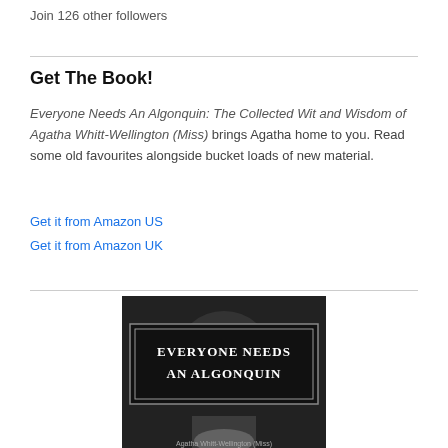Join 126 other followers
Get The Book!
Everyone Needs An Algonquin: The Collected Wit and Wisdom of Agatha Whitt-Wellington (Miss) brings Agatha home to you. Read some old favourites alongside bucket loads of new material.
Get it from Amazon US
Get it from Amazon UK
[Figure (photo): Black and white book cover image showing 'EVERYONE NEEDS AN ALGONQUIN' text on a dark rectangular banner, with a partial face visible below]